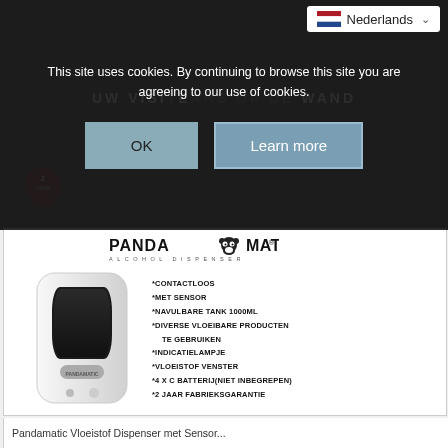This site uses cookies. By continuing to browse this site you are agreeing to our use of cookies.
[Figure (screenshot): Cookie consent dialog with OK and Learn more buttons over a dark overlay on a product website. Language selector showing Nederlands (Dutch) flag in top right corner.]
[Figure (photo): Pandamatic Alcohol Dispenser product page showing a white wall-mounted automatic sensor dispenser with product specifications listed in Dutch including: CONTACTLOOS, MET SENSOR, NAVULBARE TANK 1000ML, DIVERSE VLOEIBARE PRODUCTEN TE GEBRUIKEN, INDICATIELAMPJE, VLOEISTOF VENSTER, 4 X C BATTERIJ (NIET INBEGREPEN), 2 JAAR FABRIEKSGARANTIE]
Pandamatic Vloeistof Dispenser met Sensor...